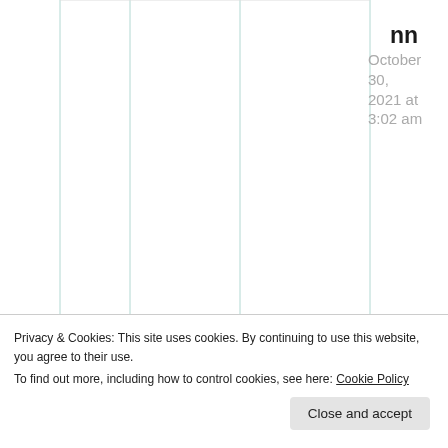nn
October 30, 2021 at 3:02 am
Great
Privacy & Cookies: This site uses cookies. By continuing to use this website, you agree to their use. To find out more, including how to control cookies, see here: Cookie Policy
Close and accept